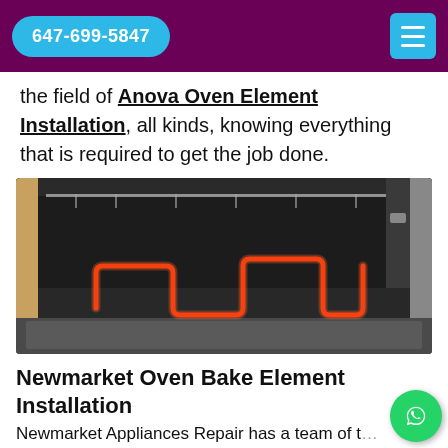647-699-5847
the field of Anova Oven Element Installation, all kinds, knowing everything that is required to get the job done.
[Figure (photo): Open oven interior showing a glowing red bake element at the bottom of a dark oven cavity with a rack visible.]
Newmarket Oven Bake Element Installation
Newmarket Appliances Repair has a team of t...